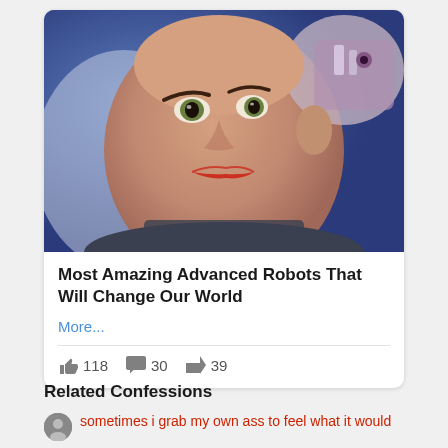[Figure (photo): Close-up photo of Sophia the humanoid robot with realistic facial features, bald head, mechanical parts visible at back of skull, blue background]
Most Amazing Advanced Robots That Will Change Our World
More...
118  30  39
Related Confessions
sometimes i grab my own ass to feel what it would